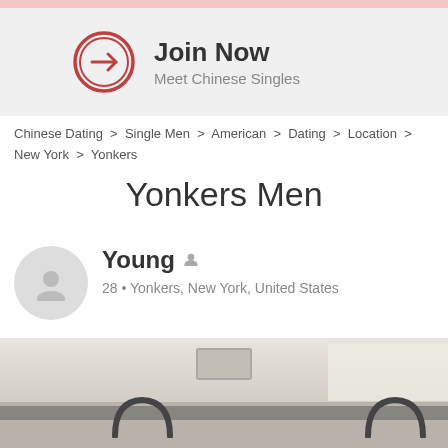[Figure (infographic): Join Now banner with arrow icon circle and text 'Join Now / Meet Chinese Singles']
Chinese Dating > Single Men > American > Dating > Location > New York > Yonkers
Yonkers Men
Young  28 • Yonkers, New York, United States
[Figure (photo): Photo of train/bus interior ceiling with vent and grab handles]